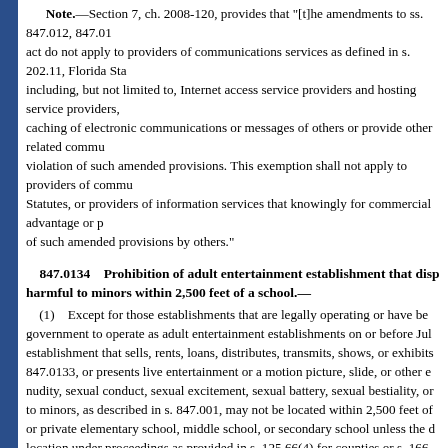Note.—Section 7, ch. 2008-120, provides that "[t]he amendments to ss. 847.012, 847.01... act do not apply to providers of communications services as defined in s. 202.11, Florida Sta... including, but not limited to, Internet access service providers and hosting service providers,... caching of electronic communications or messages of others or provide other related commu... violation of such amended provisions. This exemption shall not apply to providers of commu... Statutes, or providers of information services that knowingly for commercial advantage or p... of such amended provisions by others."
847.0134    Prohibition of adult entertainment establishment that disp... harmful to minors within 2,500 feet of a school.—
(1)    Except for those establishments that are legally operating or have be... government to operate as adult entertainment establishments on or before Jul... establishment that sells, rents, loans, distributes, transmits, shows, or exhibits... 847.0133, or presents live entertainment or a motion picture, slide, or other e... nudity, sexual conduct, sexual excitement, sexual battery, sexual bestiality, o... to minors, as described in s. 847.001, may not be located within 2,500 feet o... or private elementary school, middle school, or secondary school unless the d... location under proceedings as provided in s. 125.66(4) for counties or s. 166.
(2)    A violation of this section constitutes a felony of the third degree, pu... 775.083.
History.—s. 2, ch. 2001-177.
847.0135    Computer pornography; traveling to meet minor; penalties: